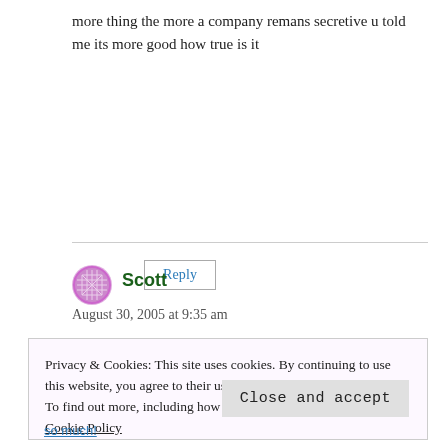more thing the more a company remans secretive u told me its more good how true is it
Reply
Scott
August 30, 2005 at 9:35 am
Privacy & Cookies: This site uses cookies. By continuing to use this website, you agree to their use.
To find out more, including how to control cookies, see here: Cookie Policy
Close and accept